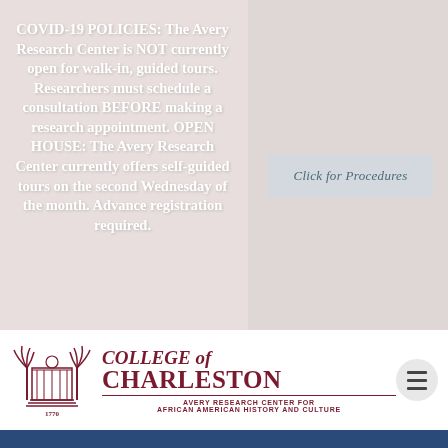COVID-19 POLICIES: The Avery Research Center is NOT currently open for walk-in, guided tours. Researchers must schedule a consultation BEFORE making a research appointment. OPEN HOUSE: The Avery Research Center currently offers self-guided tours on the second Wednesday of the month. Advance registration required.
Click for Procedures
[Figure (logo): College of Charleston – Avery Research Center for African American History and Culture logo with crest and text]